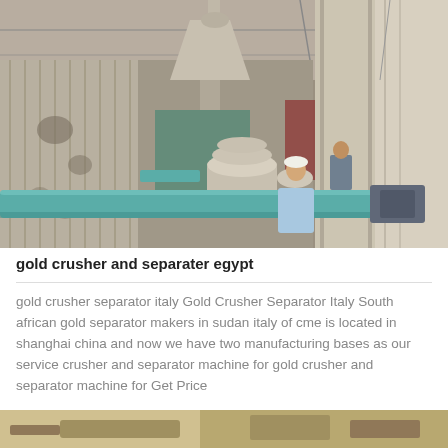[Figure (photo): Industrial facility interior showing large machinery including separators, pipes, hoppers, and conveyor equipment. Two workers visible. Metal structure with corrugated roof and walls. A prominent teal/green horizontal pipe is in the foreground.]
gold crusher and separater egypt
gold crusher separator italy Gold Crusher Separator Italy South african gold separator makers in sudan italy of cme is located in shanghai china and now we have two manufacturing bases as our service crusher and separator machine for gold crusher and separator machine for Get Price
[Figure (photo): Partial view of another industrial machine or conveyor equipment, bottom of page crop.]